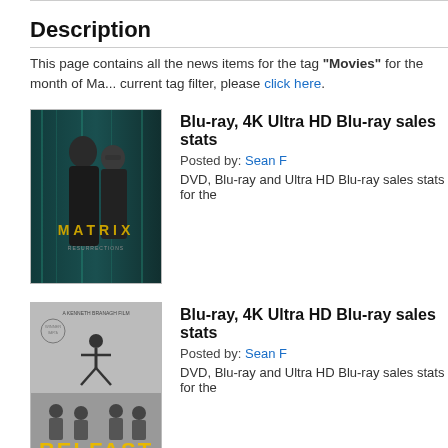Description
This page contains all the news items for the tag "Movies" for the month of Ma... current tag filter, please click here.
[Figure (photo): Movie poster for The Matrix Resurrections showing two figures]
Blu-ray, 4K Ultra HD Blu-ray sales stats
Posted by: Sean F
DVD, Blu-ray and Ultra HD Blu-ray sales stats for the
[Figure (photo): Movie poster for Belfast (black and white film) with yellow title text]
Blu-ray, 4K Ultra HD Blu-ray sales stats
Posted by: Sean F
DVD, Blu-ray and Ultra HD Blu-ray sales stats for the